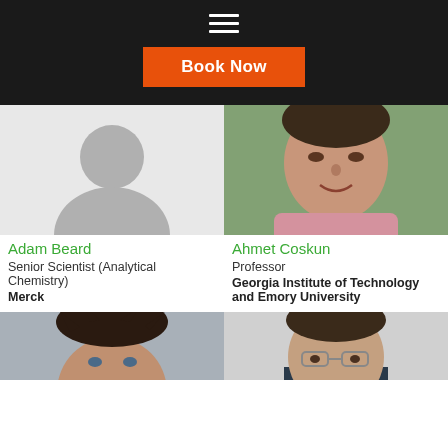Book Now
[Figure (photo): Placeholder silhouette photo for Adam Beard]
Adam Beard
Senior Scientist (Analytical Chemistry)
Merck
[Figure (photo): Photo of Ahmet Coskun, smiling man in pink shirt outdoors]
Ahmet Coskun
Professor
Georgia Institute of Technology and Emory University
[Figure (photo): Partial photo of a man with dark spiky hair]
[Figure (photo): Partial photo of a man with short dark hair and glasses]